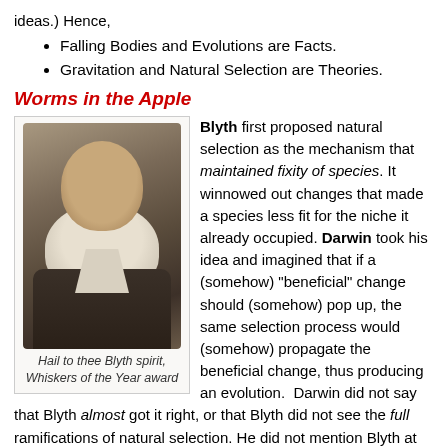ideas.) Hence,
Falling Bodies and Evolutions are Facts.
Gravitation and Natural Selection are Theories.
Worms in the Apple
[Figure (photo): Black and white portrait photograph of Edward Blyth, showing a bearded man with a large white beard wearing Victorian-era clothing.]
Hail to thee Blyth spirit, Whiskers of the Year award
Blyth first proposed natural selection as the mechanism that maintained fixity of species. It winnowed out changes that made a species less fit for the niche it already occupied. Darwin took his idea and imagined that if a (somehow) "beneficial" change should (somehow) pop up, the same selection process would (somehow) propagate the beneficial change, thus producing an evolution. Darwin did not say that Blyth almost got it right, or that Blyth did not see the full ramifications of natural selection. He did not mention Blyth at all; not even in the Sixth Edition, where he even found nice things to say about Lamarck.